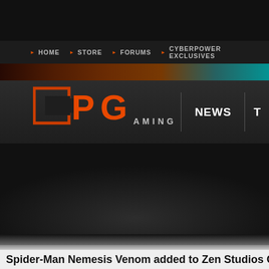[Figure (screenshot): CPG Gaming website header with dark background]
HOME  STORE  FORUMS  CYBERPOWER EXCLUSIVES
[Figure (logo): CPG Gaming logo - orange block letters CPG with GAMING text]
NEWS  T
Spider-Man Nemesis Venom added to Zen Studios G